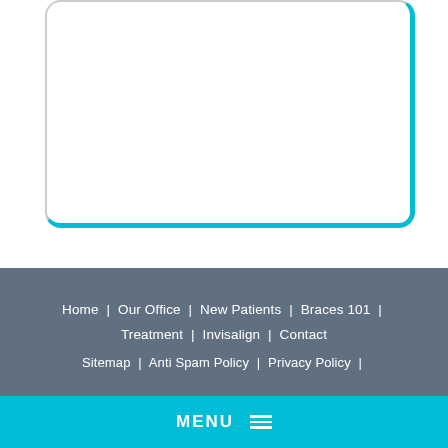[Figure (other): White rounded rectangle card with light gray border on left/top and cyan/teal border on right/bottom, on white background — partial view of a UI card or form element]
Home | Our Office | New Patients | Braces 101 | Treatment | Invisalign | Contact
Sitemap | Anti Spam Policy | Privacy Policy |
MENU ≡